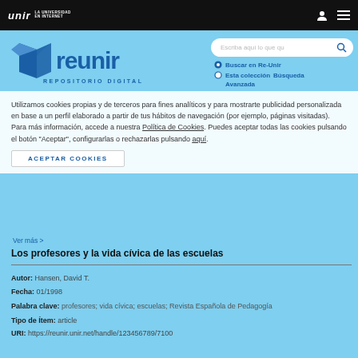UNIR LA UNIVERSIDAD EN INTERNET
[Figure (logo): Reunir Repositorio Digital logo with blue book-like icon and blue text]
Escriba aquí lo que qu [search box] Buscar en Re-Unir Esta colección Búsqueda Avanzada
Utilizamos cookies propias y de terceros para fines analíticos y para mostrarte publicidad personalizada en base a un perfil elaborado a partir de tus hábitos de navegación (por ejemplo, páginas visitadas). Para más información, accede a nuestra Política de Cookies. Puedes aceptar todas las cookies pulsando el botón "Aceptar", configurarlas o rechazarlas pulsando aquí.
ACEPTAR COOKIES
Ver más
Los profesores y la vida cívica de las escuelas
Autor: Hansen, David T.
Fecha: 01/1998
Palabra clave: profesores; vida cívica; escuelas; Revista Española de Pedagogía
Tipo de Ítem: article
URI: https://reunir.unir.net/handle/123456789/7100